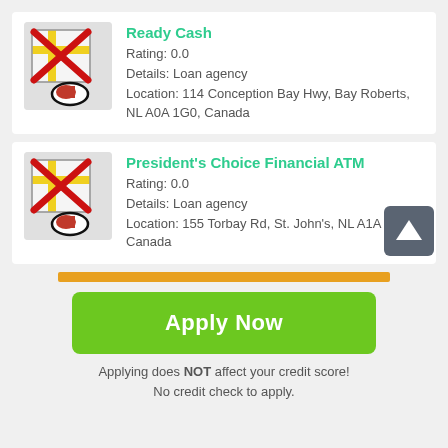[Figure (illustration): Map icon with red X overlay and location pin, for Ready Cash listing]
Ready Cash
Rating: 0.0
Details: Loan agency
Location: 114 Conception Bay Hwy, Bay Roberts, NL A0A 1G0, Canada
[Figure (illustration): Map icon with red X overlay and location pin, for President's Choice Financial ATM listing]
President's Choice Financial ATM
Rating: 0.0
Details: Loan agency
Location: 155 Torbay Rd, St. John's, NL A1A 0K6, Canada
Apply Now
Applying does NOT affect your credit score!
No credit check to apply.